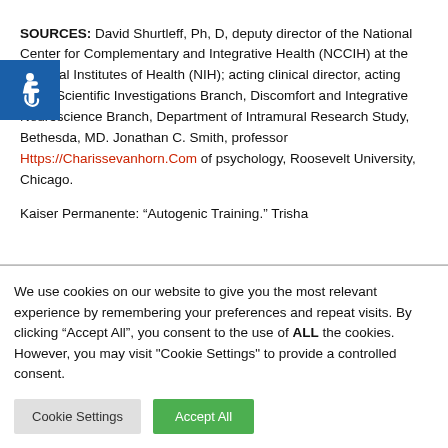SOURCES: David Shurtleff, Ph, D, deputy director of the National Center for Complementary and Integrative Health (NCCIH) at the National Institutes of Health (NIH); acting clinical director, acting chief, Scientific Investigations Branch, Discomfort and Integrative Neuroscience Branch, Department of Intramural Research Study, Bethesda, MD. Jonathan C. Smith, professor Https://Charissevanhorn.Com of psychology, Roosevelt University, Chicago.

Kaiser Permanente: “Autogenic Training.” Trisha
We use cookies on our website to give you the most relevant experience by remembering your preferences and repeat visits. By clicking “Accept All”, you consent to the use of ALL the cookies. However, you may visit “Cookie Settings” to provide a controlled consent.